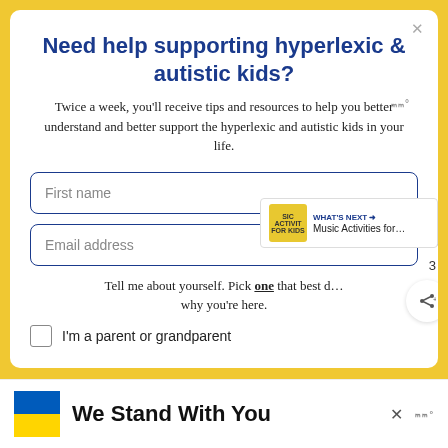Need help supporting hyperlexic & autistic kids?
Twice a week, you'll receive tips and resources to help you better understand and better support the hyperlexic and autistic kids in your life.
First name
Email address
Tell me about yourself. Pick one that best describes why you're here.
I'm a parent or grandparent
We Stand With You